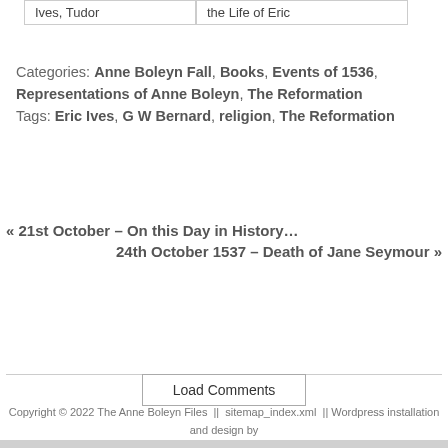| Ives, Tudor | the Life of Eric |
Categories: Anne Boleyn Fall, Books, Events of 1536, Representations of Anne Boleyn, The Reformation
Tags: Eric Ives, G W Bernard, religion, The Reformation
« 21st October – On this Day in History…
24th October 1537 – Death of Jane Seymour »
Load Comments
Copyright © 2022 The Anne Boleyn Files  ||  sitemap_index.xml  || Wordpress installation and design by http://www.MadeGlobal.com